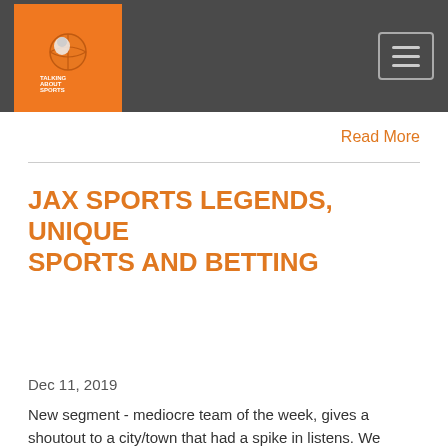Talking About Sports - navigation header with logo and hamburger menu
Read More
JAX SPORTS LEGENDS, UNIQUE SPORTS AND BETTING
[Figure (screenshot): Podcast audio player widget showing 'TALKING ABOUT SPORTS' podcast, episode 'JAX SPORTS LEGENDS, UNIQUE SPORTS AND ...' with play button, progress bar, timestamp 00:00:00 and media control icons]
Dec 11, 2019
New segment - mediocre team of the week, gives a shoutout to a city/town that had a spike in listens. We research the area and delve into the local sports scene. We admit our CFB mistakes last week, seek to get right with NFL picks. We also share 2 wild, unique sports you've never heard of, in